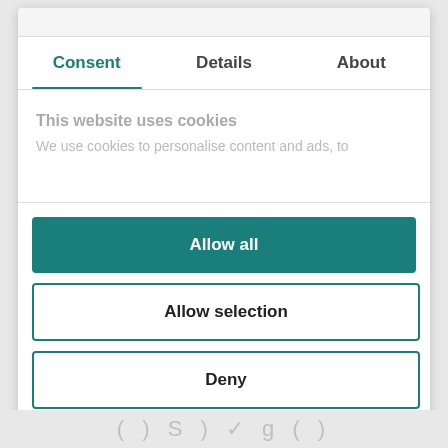Consent	Details	About
This website uses cookies
We use cookies to personalise content and ads, to
Allow all
Allow selection
Deny
Powered by Cookiebot by Usercentrics